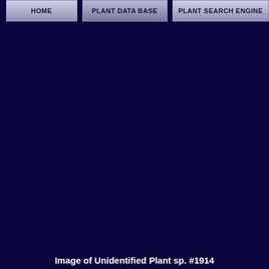HOME | PLANT DATA BASE | PLANT SEARCH ENGINE
[Figure (photo): Dark navy/black background area representing an unloaded or missing plant image]
Image of Unidentified Plant sp. #1914